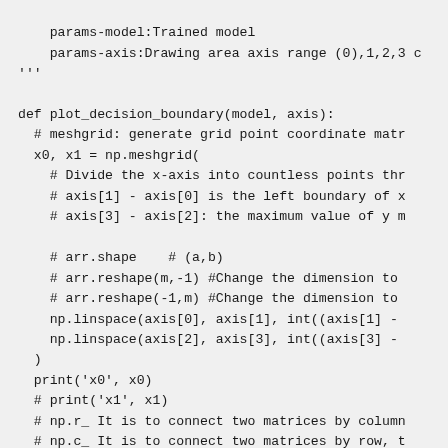params-model:Trained model
    params-axis:Drawing area axis range (0),1,2,3 c
'''

def plot_decision_boundary(model, axis):
  # meshgrid: generate grid point coordinate matr
  x0, x1 = np.meshgrid(
    # Divide the x-axis into countless points thr
    # axis[1] - axis[0] is the left boundary of x
    # axis[3] - axis[2]: the maximum value of y m

    # arr.shape    # (a,b)
    # arr.reshape(m,-1) #Change the dimension to
    # arr.reshape(-1,m) #Change the dimension to
    np.linspace(axis[0], axis[1], int((axis[1] -
    np.linspace(axis[2], axis[3], int((axis[3] -
  )
  print('x0', x0)
  # print('x1', x1)
  # np.r_ It is to connect two matrices by column
  # np.c_ It is to connect two matrices by row, t
  # . t ravel(): convert multidimensional array t